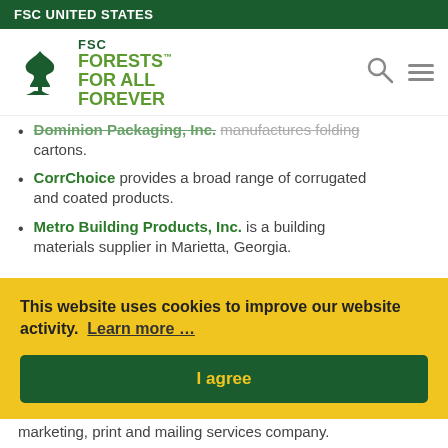FSC UNITED STATES
[Figure (logo): FSC Forests For All Forever logo with tree icon, search icon, and hamburger menu icon]
Dominion Packaging, Inc. manufactures folding cartons.
CorrChoice provides a broad range of corrugated and coated products.
Metro Building Products, Inc. is a building materials supplier in Marietta, Georgia.
This website uses cookies to improve our website activity.  Learn more …
I agree
marketing, print and mailing services company.